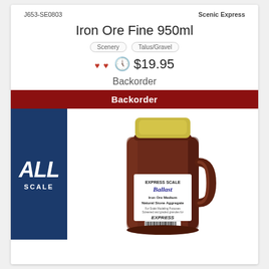J653-SE0803
Scenic Express
Iron Ore Fine 950ml
Scenery
Talus/Gravel
$19.95
Backorder
Backorder
[Figure (photo): A clear plastic jar filled with dark brown fine iron ore ballast material, with a yellow lid and an Express Scale Ballast label on the front showing 'Iron Ore Medium Natural Stone Aggregate' and EXPRESS branding.]
ALL SCALE